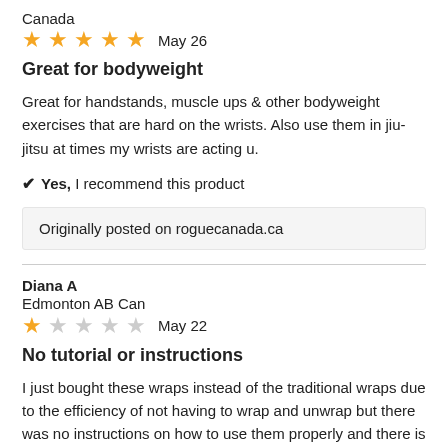Canada
★★★★★  May 26
Great for bodyweight
Great for handstands, muscle ups & other bodyweight exercises that are hard on the wrists. Also use them in jiu-jitsu at times my wrists are acting u.
✔ Yes, I recommend this product
Originally posted on roguecanada.ca
Diana A
Edmonton AB Can
★☆☆☆☆  May 22
No tutorial or instructions
I just bought these wraps instead of the traditional wraps due to the efficiency of not having to wrap and unwrap but there was no instructions on how to use them properly and there is no tutorial